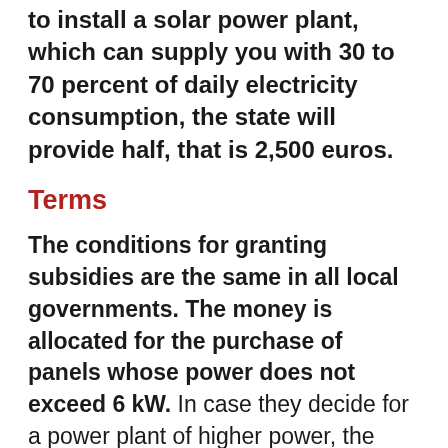to install a solar power plant, which can supply you with 30 to 70 percent of daily electricity consumption, the state will provide half, that is 2,500 euros.
Terms
The conditions for granting subsidies are the same in all local governments. The money is allocated for the purchase of panels whose power does not exceed 6 kW. In case they decide for a power plant of higher power, the household pays only the difference from the total value of the works. The subsidy also includes the purchase of equipment, as well as the services of